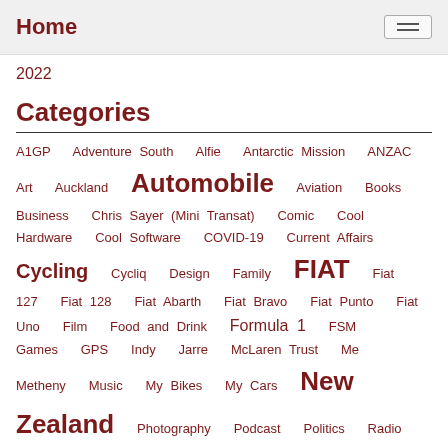Home
2022
Categories
A1GP  Adventure South  Alfie  Antarctic Mission  ANZAC  Art  Auckland  Automobile  Aviation  Books  Business  Chris Sayer (Mini Transat)  Comic  Cool Hardware  Cool Software  COVID-19  Current Affairs  Cycling  Cycliq  Design  Family  FIAT  Fiat 127  Fiat 128  Fiat Abarth  Fiat Bravo  Fiat Punto  Fiat Uno  Film  Food and Drink  Formula 1  FSM  Games  GPS  Indy  Jarre  McLaren Trust  Me  Metheny  Music  My Bikes  My Cars  New Zealand  Photography  Podcast  Politics  Radio  Rally  Rant  Religion  Science  Skeptic  Sports  Strange Planet Speak  Television  Time Out NZ 2021-22  Traffic Light Thoughts  Travel  Waitakere  Web/Tech  Weblogs